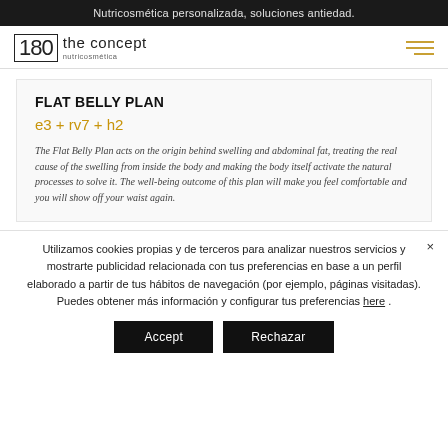Nutricosmética personalizada, soluciones antiedad.
[Figure (logo): 180 The Concept nutricosmética logo with hamburger menu icon]
FLAT BELLY PLAN
e3 + rv7 + h2
The Flat Belly Plan acts on the origin behind swelling and abdominal fat, treating the real cause of the swelling from inside the body and making the body itself activate the natural processes to solve it. The well-being outcome of this plan will make you feel comfortable and you will show off your waist again.
Utilizamos cookies propias y de terceros para analizar nuestros servicios y mostrarte publicidad relacionada con tus preferencias en base a un perfil elaborado a partir de tus hábitos de navegación (por ejemplo, páginas visitadas). Puedes obtener más información y configurar tus preferencias here .